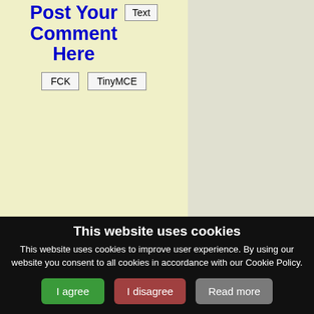Post Your Comment Here
FCK  TinyMCE  Text
CureZone Newsletter is distributed in partnership with https://www.netatlantic.com
Contact Us - Advertise - Stats
This website uses cookies
This website uses cookies to improve user experience. By using our website you consent to all cookies in accordance with our Cookie Policy.
I agree  I disagree  Read more